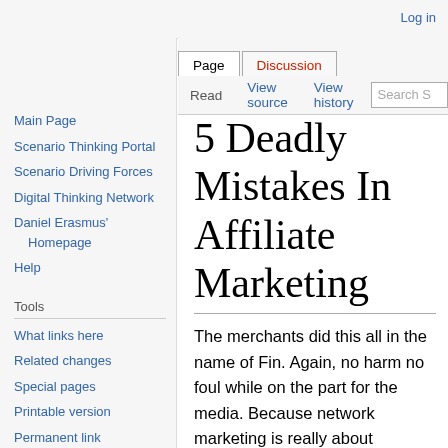Log in
Page | Discussion | Read | View source | View history | Search
5 Deadly Mistakes In Affiliate Marketing
The merchants did this all in the name of Fin. Again, no harm no foul while on the part for the media. Because network marketing is really about customers. The attitude of youths towards respecting the elderly changed a great matter. Unlike in the past, youths would naturally say a greeting to the older ones and approach them for advice freely. But these days, the story is different. The youths look down on the older and elderly. They see age as a mere number
Main Page
Scenario Thinking Portal
Scenario Driving Forces
Digital Thinking Network
Daniel Erasmus' Homepage
Help
Tools
What links here
Related changes
Special pages
Printable version
Permanent link